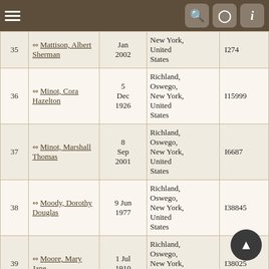Toolbar with menu and icons
| # | Name | Date | Place | ID |
| --- | --- | --- | --- | --- |
| 35 | Mattison, Albert Sherman | Jan 2002 | New York, United States | I274 |
| 36 | Minot, Cora Hazelton | 5 Dec 1926 | Richland, Oswego, New York, United States | I15999 |
| 37 | Minot, Marshall Thomas | 8 Sep 2001 | Richland, Oswego, New York, United States | I6687 |
| 38 | Moody, Dorothy Douglas | 9 Jun 1977 | Richland, Oswego, New York, United States | I38845 |
| 39 | Moore, Mary Jane | 1 Jul 1910 | Richland, Oswego, New York, United States | I38025 |
| 40 | Nicholson, Lorenzo | 24 Aug | Richland, Oswego, New York, | I49706 |